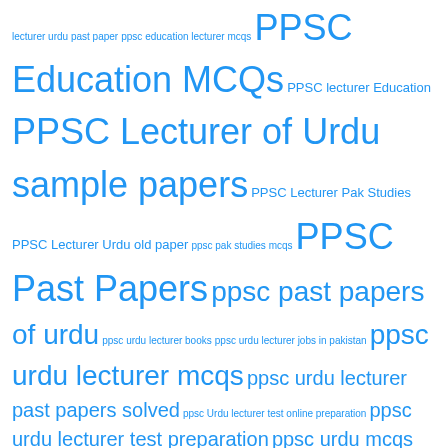lecturer urdu past paper ppsc education lecturer mcqs PPSC Education MCQs PPSC lecturer Education PPSC Lecturer of Urdu sample papers PPSC Lecturer Pak Studies PPSC Lecturer Urdu old paper ppsc pak studies mcqs PPSC Past Papers ppsc past papers of urdu ppsc urdu lecturer books ppsc urdu lecturer jobs in pakistan ppsc urdu lecturer mcqs ppsc urdu lecturer past papers solved ppsc Urdu lecturer test online preparation ppsc urdu lecturer test preparation ppsc urdu mcqs SESE Science MCQs SPSC Education MCQs SPSC Pak Studies MCQs SPSC Political Science MCQs SPSC Urdu MCQs Subject Specialist Political Science Urdu MCQs
Tags
BPSC Education MCQs BPSC Pak Studies MCQs BPSC Political Science MCQs BPSC Urdu MCQs Commerce MCQs